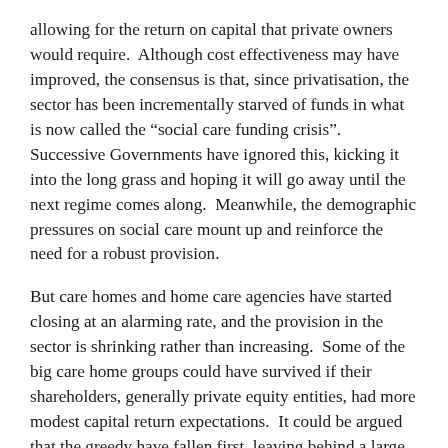allowing for the return on capital that private owners would require.  Although cost effectiveness may have improved, the consensus is that, since privatisation, the sector has been incrementally starved of funds in what is now called the “social care funding crisis”.  Successive Governments have ignored this, kicking it into the long grass and hoping it will go away until the next regime comes along.  Meanwhile, the demographic pressures on social care mount up and reinforce the need for a robust provision.
But care homes and home care agencies have started closing at an alarming rate, and the provision in the sector is shrinking rather than increasing.  Some of the big care home groups could have survived if their shareholders, generally private equity entities, had more modest capital return expectations.  It could be argued that the greedy have fallen first, leaving behind a large number of smaller care homes, and care home groups, all privately owned but with limited resources to weather a protracted storm.